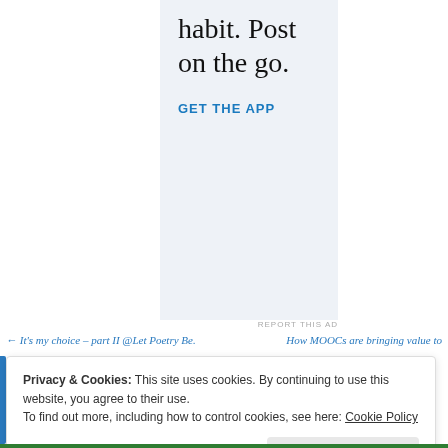[Figure (advertisement): Advertisement panel with text 'habit. Post on the go.' and a blue 'GET THE APP' call-to-action link on a light blue-grey background.]
REPORT THIS AD
← It's my choice – part II @Let Poetry Be.
How MOOCs are bringing value to
Privacy & Cookies: This site uses cookies. By continuing to use this website, you agree to their use.
To find out more, including how to control cookies, see here: Cookie Policy
Close and accept
REPORT THIS AD